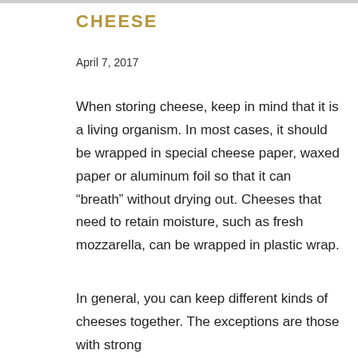CHEESE
April 7, 2017
When storing cheese, keep in mind that it is a living organism. In most cases, it should be wrapped in special cheese paper, waxed paper or aluminum foil so that it can “breath” without drying out. Cheeses that need to retain moisture, such as fresh mozzarella, can be wrapped in plastic wrap.
In general, you can keep different kinds of cheeses together. The exceptions are those with strong